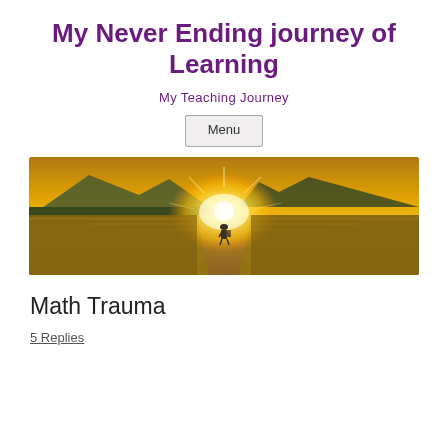My Never Ending journey of Learning
My Teaching Journey
Menu
[Figure (photo): A person with a backpack walking on a long pier or path toward a brilliant golden sunset over a lake, with mountains in the background and the golden light reflecting on the water.]
Math Trauma
5 Replies